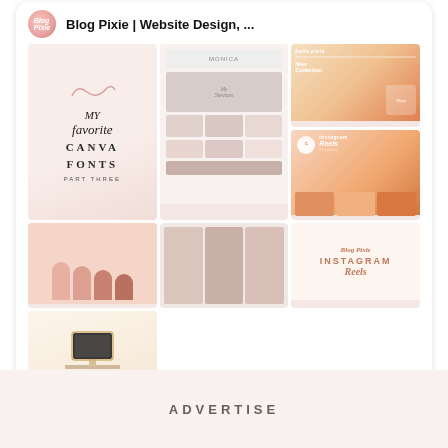[Figure (screenshot): Pinterest profile widget for Blog Pixie | Website Design showing a grid of website design, Canva font, and Instagram Reels template images with a Follow On Pinterest button]
Blog Pixie | Website Design, ...
Follow On Pinterest
ADVERTISE